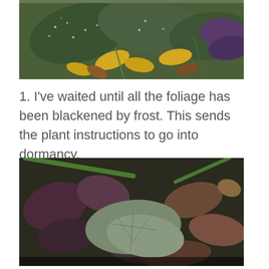[Figure (photo): Close-up photo of garden foliage including large dark green leaves with white speckles, yellow autumn leaves, and purple-tinged leaves on the ground]
1. I've waited until all the foliage has been blackened by frost. This sends the plant instructions to go into dormancy.
[Figure (photo): Close-up photo of frost-blackened and dried garden plants with purple, brown, and green leaves scattered on dark soil, with green stems visible]